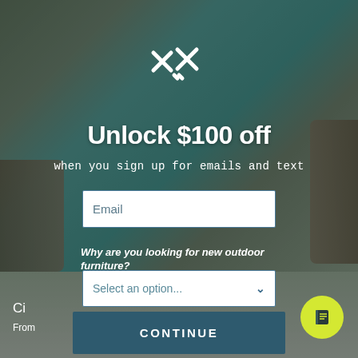[Figure (screenshot): Outdoor furniture e-commerce website with a popup modal overlay. Background shows wicker lounge chairs with cream cushions by a pool. Modal contains promotional offer: 'Unlock $100 off when you sign up for emails and text', an email input field, a dropdown asking why the user is looking for outdoor furniture, and a Continue button. Bottom left shows partial product name 'Ci...' and 'From...' text. Bottom right has a yellow circular chat button with a book/chat icon.]
Unlock $100 off
when you sign up for emails and text
Email
Why are you looking for new outdoor furniture?
Select an option...
CONTINUE
Ci
From